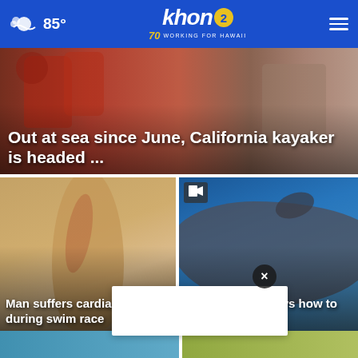85° khon2 WORKING FOR HAWAII 70 years
[Figure (screenshot): Hero image of kayaker in red life vest at sea]
Out at sea since June, California kayaker is headed ...
[Figure (photo): Close-up of surfboard with bite mark]
Man suffers cardiac arrest during swim race
[Figure (photo): Underwater photo of whale shark]
Hawaii diver shows how to avoid shark